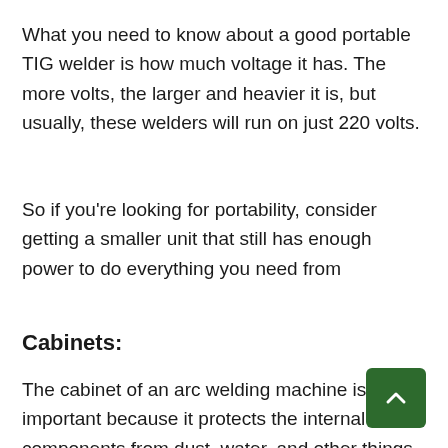What you need to know about a good portable TIG welder is how much voltage it has. The more volts, the larger and heavier it is, but usually, these welders will run on just 220 volts.
So if you're looking for portability, consider getting a smaller unit that still has enough power to do everything you need from
Cabinets:
The cabinet of an arc welding machine is important because it protects the internal components from dust, water, and other things that